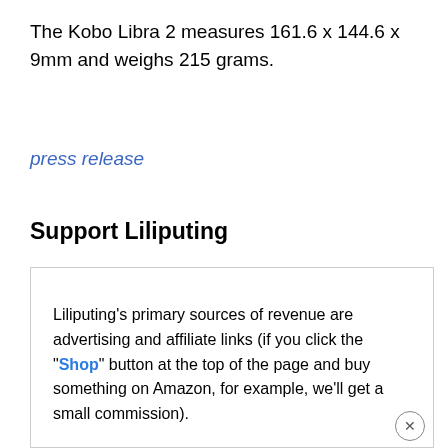The Kobo Libra 2 measures 161.6 x 144.6 x 9mm and weighs 215 grams.
press release
Support Liliputing
Liliputing's primary sources of revenue are advertising and affiliate links (if you click the "Shop" button at the top of the page and buy something on Amazon, for example, we'll get a small commission).
But there are several ways you can support the site directly even if you're using an ad blocker* and hate online shopping.
Contribute to our Patreon campaign